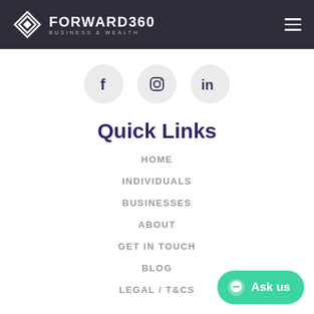FORWARD360 BUSINESS & WEALTH
[Figure (logo): Forward360 Business & Wealth logo with diamond shape icon]
[Figure (infographic): Social media icons: Facebook, Instagram, LinkedIn in grey circles]
Quick Links
HOME
INDIVIDUALS
BUSINESSES
ABOUT
GET IN TOUCH
BLOG
LEGAL / T&CS
[Figure (other): Green Ask us chat button in bottom right corner]